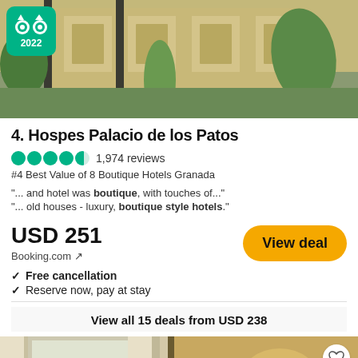[Figure (photo): Hotel exterior photo showing architectural facade with columns and tropical plants, TripAdvisor 2022 badge in top-left corner]
4. Hospes Palacio de los Patos
●●●●◑ 1,974 reviews
#4 Best Value of 8 Boutique Hotels Granada
"... and hotel was boutique, with touches of..."
"... old houses - luxury, boutique style hotels."
USD 251
Booking.com ↗
View deal
✓ Free cancellation
✓ Reserve now, pay at stay
View all 15 deals from USD 238
[Figure (photo): Hotel room interior showing white bedding, warm lighting, framed artwork on wall, decorative items]